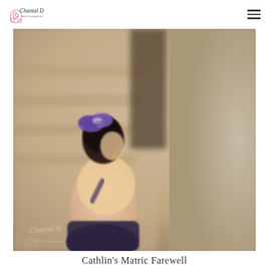Chantal D Photography
[Figure (photo): A young woman photographed from behind and slightly to the side, wearing a purple hair accessory and dark top, standing near a stone wall with blurred architectural background. Chantal D Photography watermark visible. Shallow depth of field portrait.]
Cathlin's Matric Farewell